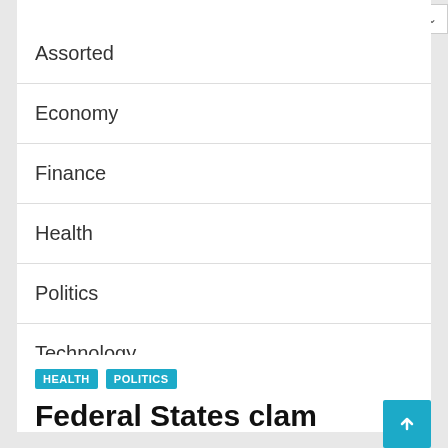Assorted
Economy
Finance
Health
Politics
Technology
HEALTH  POLITICS
Federal States clam